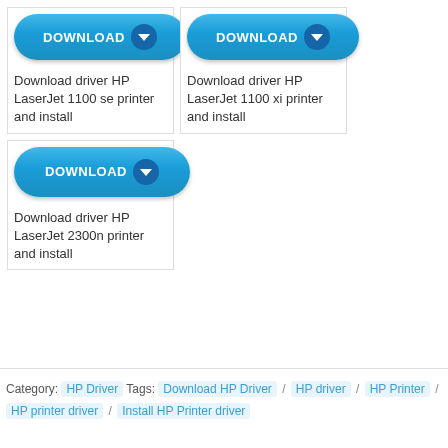[Figure (screenshot): Download button (blue pill-shaped) for HP LaserJet 1100 se printer]
Download driver HP LaserJet 1100 se printer and install
[Figure (screenshot): Download button (blue pill-shaped) for HP LaserJet 1100 xi printer]
Download driver HP LaserJet 1100 xi printer and install
[Figure (screenshot): Download button (blue pill-shaped) for HP LaserJet 2300n printer]
Download driver HP LaserJet 2300n printer and install
Category: HP Driver  Tags: Download HP Driver / HP driver / HP Printer / HP printer driver / Install HP Printer driver